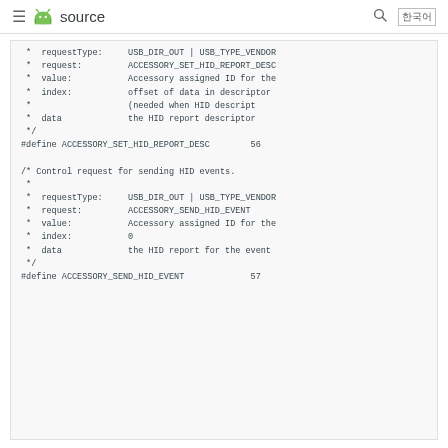≡ android source 🔍 []
*  requestType:     USB_DIR_OUT | USB_TYPE_VENDOR
 *  request:         ACCESSORY_SET_HID_REPORT_DESC
 *  value:           Accessory assigned ID for the
 *  index:           offset of data in descriptor
 *                   (needed when HID descript
 *  data             the HID report descriptor
 */
#define ACCESSORY_SET_HID_REPORT_DESC        56

/* Control request for sending HID events.
 *
 *  requestType:     USB_DIR_OUT | USB_TYPE_VENDOR
 *  request:         ACCESSORY_SEND_HID_EVENT
 *  value:           Accessory assigned ID for the
 *  index:           0
 *  data             the HID report for the event
 */
#define ACCESSORY_SEND_HID_EVENT             57